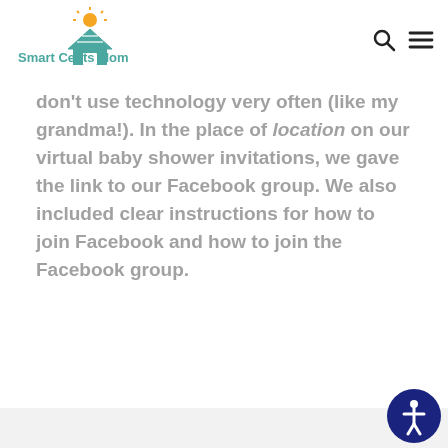Smart Cents Mom
don't use technology very often (like my grandma!). In the place of location on our virtual baby shower invitations, we gave the link to our Facebook group. We also included clear instructions for how to join Facebook and how to join the Facebook group.
[Figure (logo): Accessibility icon button - circle person with blue background]